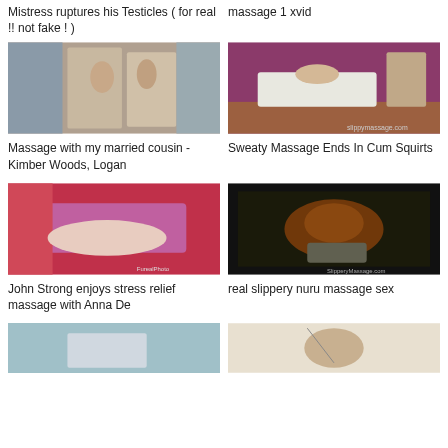Mistress ruptures his Testicles ( for real !! not fake ! )
massage 1 xvid
[Figure (photo): Two people in shower scene]
[Figure (photo): Massage table scene with pink walls]
Massage with my married cousin - Kimber Woods, Logan
Sweaty Massage Ends In Cum Squirts
[Figure (photo): Close-up massage with purple towel]
[Figure (photo): Two people on mat floor]
John Strong enjoys stress relief massage with Anna De
real slippery nuru massage sex
[Figure (photo): Partially visible image bottom left]
[Figure (photo): Partially visible image bottom right]